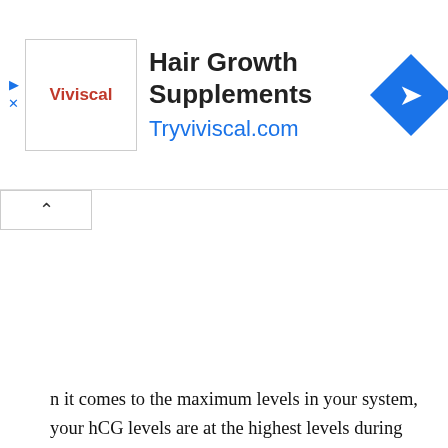[Figure (other): Advertisement banner for Viviscal Hair Growth Supplements with logo, text 'Hair Growth Supplements', URL 'Tryviviscal.com', and blue diamond navigation icon]
n it comes to the maximum levels in your system, your hCG levels are at the highest levels during weeks 8 to 10 of a pregnancy and will take longer to dissipate from the body.[7]
While this may sound like a tease it’s because your body is trying to acclimate to not being pregnant.
You could still experience pregnancy symptoms until your body has normalized itself once again until there is no longer hCG in your system.
ARE YOU PREGNANT AGAIN?